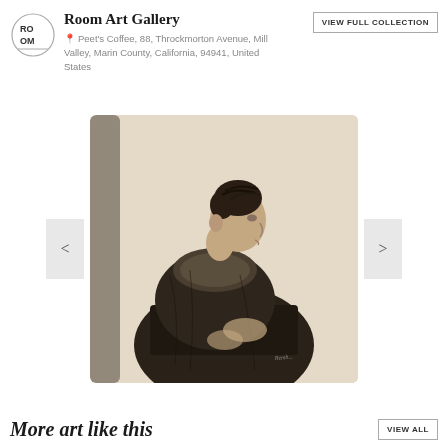Room Art Gallery
Peet's Coffee, 88, Throckmorton Avenue, Mill Valley, Marin County, California, 94941, United States
[Figure (illustration): Sepia-toned etching or engraving of an elderly woman seated in profile view facing left, wearing dark robes with a fur-trimmed collar, hair pinned up. The artwork appears to be a Rembrandt-style old master print on a rounded-rectangle card with warm beige background.]
More art like this